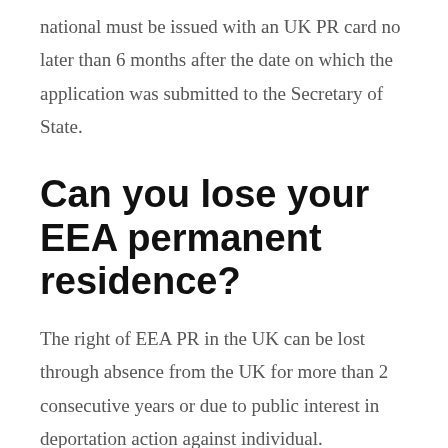national must be issued with an UK PR card no later than 6 months after the date on which the application was submitted to the Secretary of State.
Can you lose your EEA permanent residence?
The right of EEA PR in the UK can be lost through absence from the UK for more than 2 consecutive years or due to public interest in deportation action against individual.